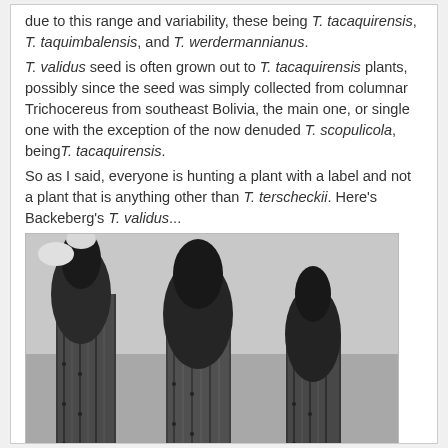due to this range and variability, these being T. tacaquirensis, T. taquimbalensis, and T. werdermannianus.
T. validus seed is often grown out to T. tacaquirensis plants, possibly since the seed was simply collected from columnar Trichocereus from southeast Bolivia, the main one, or single one with the exception of the now denuded T. scopulicola, beingT. tacaquirensis.
So as I said, everyone is hunting a plant with a label and not a plant that is anything other than T. terscheckii. Here's Backeberg's T. validus...
[Figure (photo): Black and white photograph of columnar Trichocereus cacti with flowering buds visible at the top, showing ribbed stems with spines]
~Michael~
[Figure (photo): Black and white photograph of Trichocereus cactus with flowering buds, partial view at bottom of page]